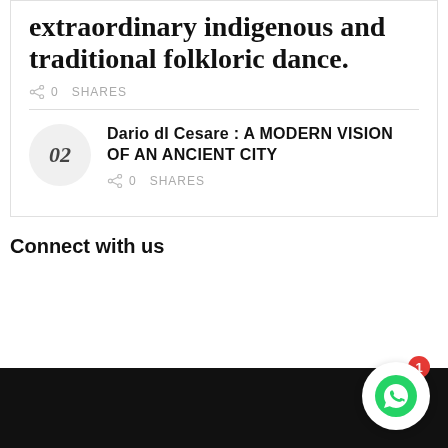extraordinary indigenous and traditional folkloric dance.
0 SHARES
Dario dI Cesare : A MODERN VISION OF AN ANCIENT CITY
0 SHARES
Connect with us
[Figure (other): WhatsApp contact button with red notification badge showing 1, overlaid on black footer bar]